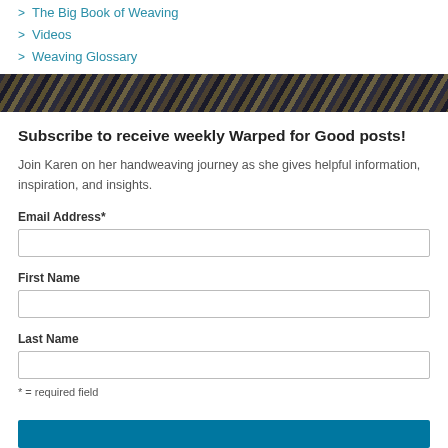The Big Book of Weaving
Videos
Weaving Glossary
[Figure (photo): Textile/weaving texture banner image showing woven fabric in dark blue, brown, and gold colors]
Subscribe to receive weekly Warped for Good posts!
Join Karen on her handweaving journey as she gives helpful information, inspiration, and insights.
Email Address*
First Name
Last Name
* = required field